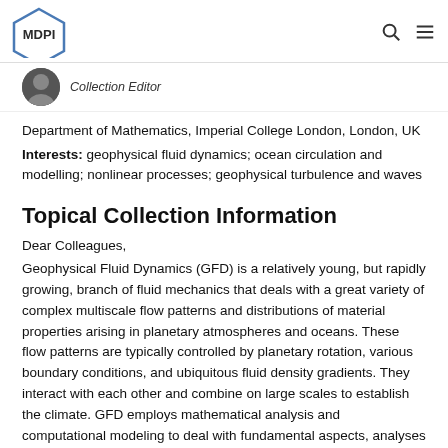MDPI
Collection Editor
Department of Mathematics, Imperial College London, London, UK
Interests: geophysical fluid dynamics; ocean circulation and modelling; nonlinear processes; geophysical turbulence and waves
Topical Collection Information
Dear Colleagues,
Geophysical Fluid Dynamics (GFD) is a relatively young, but rapidly growing, branch of fluid mechanics that deals with a great variety of complex multiscale flow patterns and distributions of material properties arising in planetary atmospheres and oceans. These flow patterns are typically controlled by planetary rotation, various boundary conditions, and ubiquitous fluid density gradients. They interact with each other and combine on large scales to establish the climate. GFD employs mathematical analysis and computational modeling to deal with fundamental aspects, analyses and, ultimately, interpretations of the observed phenomena. To a large degree, the observed complexity